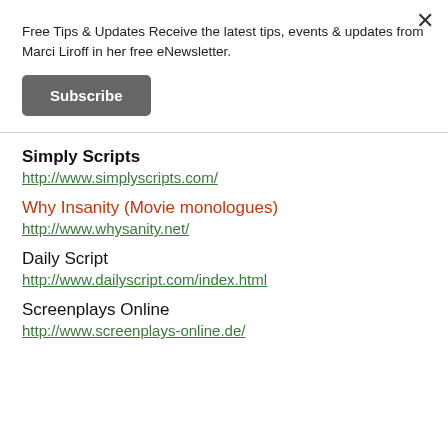Free Tips & Updates Receive the latest tips, events & updates from Marci Liroff in her free eNewsletter.
Subscribe
Simply Scripts
http://www.simplyscripts.com/
Why Insanity (Movie monologues)
http://www.whysanity.net/
Daily Script
http://www.dailyscript.com/index.html
Screenplays Online
http://www.screenplays-online.de/